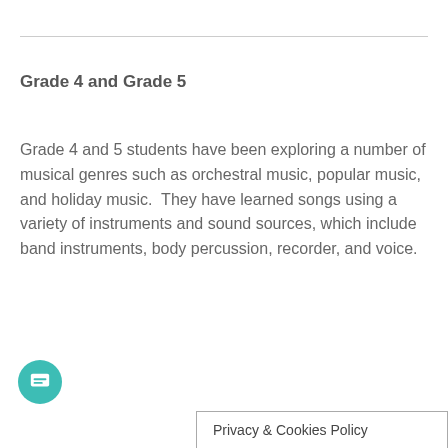Grade 4 and Grade 5
Grade 4 and 5 students have been exploring a number of musical genres such as orchestral music, popular music, and holiday music.  They have learned songs using a variety of instruments and sound sources, which include band instruments, body percussion, recorder, and voice.
Privacy & Cookies Policy